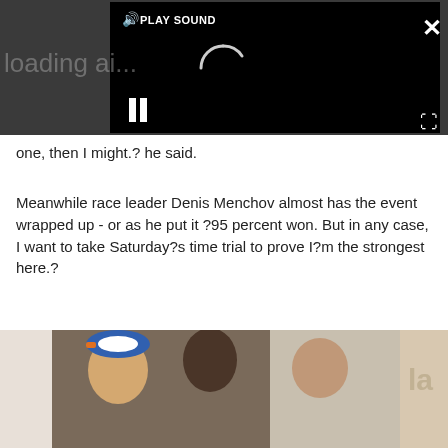[Figure (screenshot): Video player overlay on dark gray background with a black video area showing a loading spinner, play sound button, pause icon, close (X) button, and expand button.]
one, then I might.? he said.
Meanwhile race leader Denis Menchov almost has the event wrapped up - or as he put it ?95 percent won. But in any case, I want to take Saturday?s time trial to prove I?m the strongest here.?
[Figure (photo): Partial photo of three people standing in front of a brown/tan wall, one wearing a blue and orange cap.]